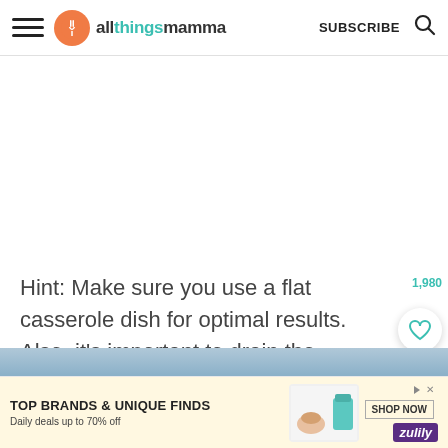allthingsmamma — SUBSCRIBE
[Figure (other): White blank content area, placeholder for image or advertisement above article text]
Hint: Make sure you use a flat casserole dish for optimal results. Also, it's important to drain the corn to avoid runny corn pudding.
[Figure (other): Partial blue-toned image strip at bottom, cropped recipe photo]
[Figure (other): Advertisement banner: TOP BRANDS & UNIQUE FINDS, Daily deals up to 70% off, Zulily, SHOP NOW button, product images of shoes and handbag]